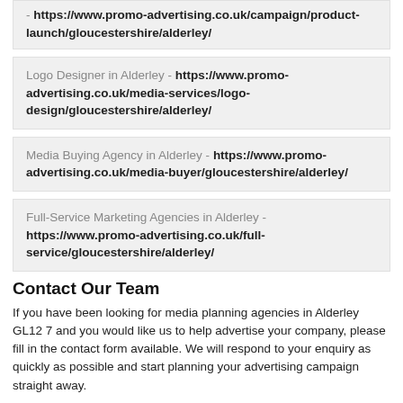- https://www.promo-advertising.co.uk/campaign/product-launch/gloucestershire/alderley/
Logo Designer in Alderley - https://www.promo-advertising.co.uk/media-services/logo-design/gloucestershire/alderley/
Media Buying Agency in Alderley - https://www.promo-advertising.co.uk/media-buyer/gloucestershire/alderley/
Full-Service Marketing Agencies in Alderley - https://www.promo-advertising.co.uk/full-service/gloucestershire/alderley/
Contact Our Team
If you have been looking for media planning agencies in Alderley GL12 7 and you would like us to help advertise your company, please fill in the contact form available. We will respond to your enquiry as quickly as possible and start planning your advertising campaign straight away.